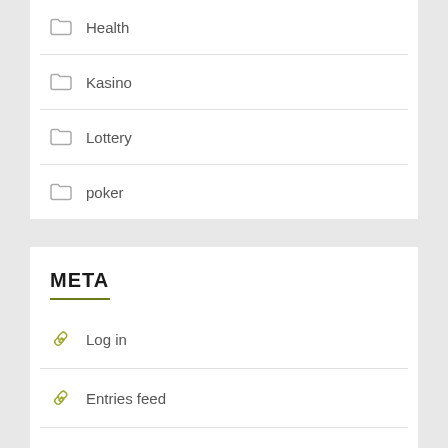Health
Kasino
Lottery
poker
META
Log in
Entries feed
Comments feed
WordPress.org